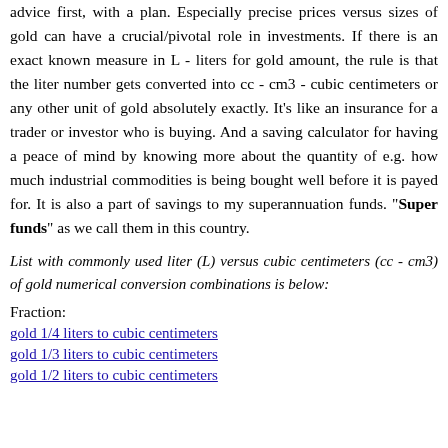advice first, with a plan. Especially precise prices versus sizes of gold can have a crucial/pivotal role in investments. If there is an exact known measure in L - liters for gold amount, the rule is that the liter number gets converted into cc - cm3 - cubic centimeters or any other unit of gold absolutely exactly. It's like an insurance for a trader or investor who is buying. And a saving calculator for having a peace of mind by knowing more about the quantity of e.g. how much industrial commodities is being bought well before it is payed for. It is also a part of savings to my superannuation funds. "Super funds" as we call them in this country.
List with commonly used liter (L) versus cubic centimeters (cc - cm3) of gold numerical conversion combinations is below:
Fraction:
gold 1/4 liters to cubic centimeters
gold 1/3 liters to cubic centimeters
gold 1/2 liters to cubic centimeters